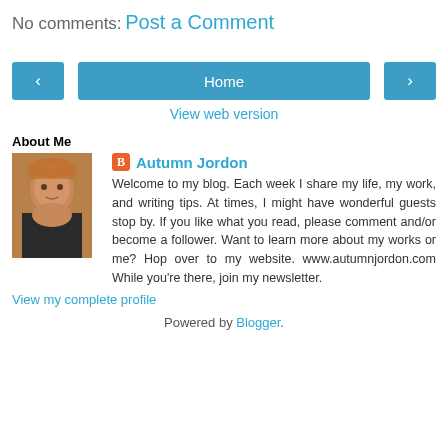No comments:
Post a Comment
[Figure (other): Navigation buttons row with left arrow, Home button, and right arrow button]
View web version
About Me
[Figure (photo): Profile photo of Autumn Jordon, a woman with reddish-blonde hair]
Autumn Jordon
Welcome to my blog. Each week I share my life, my work, and writing tips. At times, I might have wonderful guests stop by. If you like what you read, please comment and/or become a follower. Want to learn more about my works or me? Hop over to my website. www.autumnjordon.com While you're there, join my newsletter.
View my complete profile
Powered by Blogger.